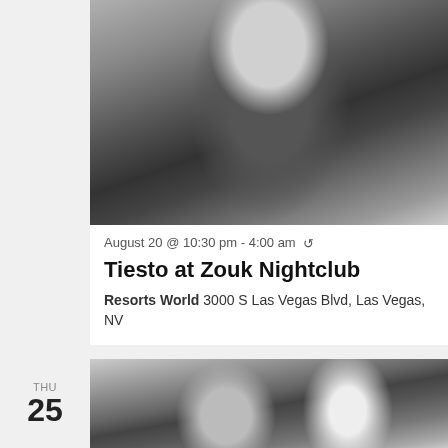[Figure (photo): Black and white portrait photo of a man in a leather jacket, looking at camera]
August 20 @ 10:30 pm - 4:00 am ↺
Tiesto at Zouk Nightclub
Resorts World 3000 S Las Vegas Blvd, Las Vegas, NV
THU
25
[Figure (photo): Black and white photo of two people, partially visible at bottom of page]